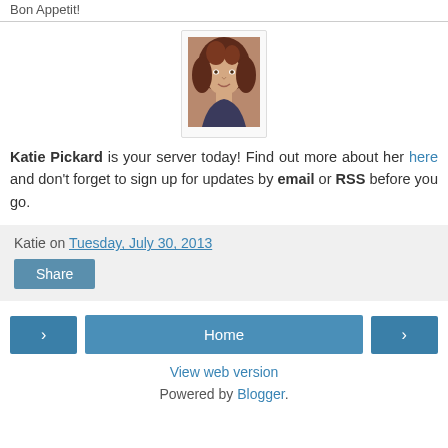Bon Appetit!
[Figure (photo): Profile photo of Katie Pickard, a woman with curly brown hair]
Katie Pickard is your server today! Find out more about her here and don't forget to sign up for updates by email or RSS before you go.
Katie on Tuesday, July 30, 2013
Share
Home
View web version
Powered by Blogger.